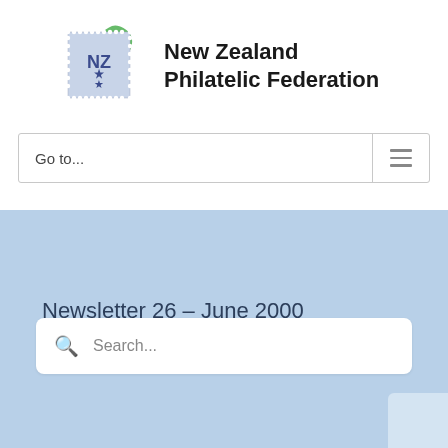[Figure (logo): New Zealand Philatelic Federation logo: a postage stamp outline with NZ text and a star on a blue/purple background, overlaid with a green map of New Zealand]
New Zealand Philatelic Federation
Go to...
Newsletter 26 – June 2000
Search...